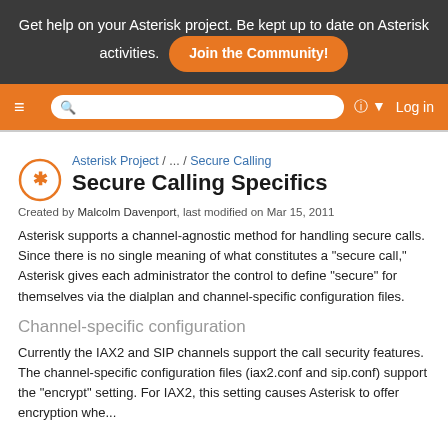Get help on your Asterisk project. Be kept up to date on Asterisk activities. Join the Community!
[Figure (screenshot): Navigation bar with hamburger menu, search box, help icon with dropdown arrow, and Log in link on orange background]
Secure Calling Specifics
Asterisk Project / ... / Secure Calling
Created by Malcolm Davenport, last modified on Mar 15, 2011
Asterisk supports a channel-agnostic method for handling secure calls. Since there is no single meaning of what constitutes a "secure call," Asterisk gives each administrator the control to define "secure" for themselves via the dialplan and channel-specific configuration files.
Channel-specific configuration
Currently the IAX2 and SIP channels support the call security features. The channel-specific configuration files (iax2.conf and sip.conf) support the "encrypt" setting. For IAX2, this setting causes Asterisk to offer encryption whe...